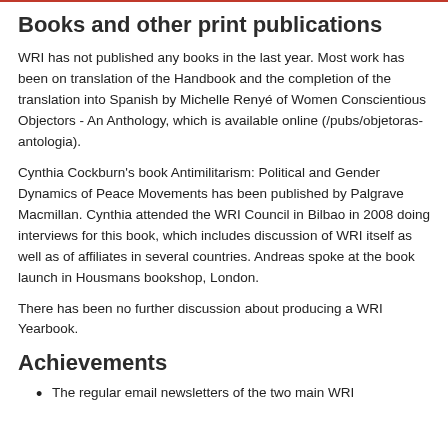Books and other print publications
WRI has not published any books in the last year. Most work has been on translation of the Handbook and the completion of the translation into Spanish by Michelle Renyé of Women Conscientious Objectors - An Anthology, which is available online (/pubs/objetoras-antologia).
Cynthia Cockburn's book Antimilitarism: Political and Gender Dynamics of Peace Movements has been published by Palgrave Macmillan. Cynthia attended the WRI Council in Bilbao in 2008 doing interviews for this book, which includes discussion of WRI itself as well as of affiliates in several countries. Andreas spoke at the book launch in Housmans bookshop, London.
There has been no further discussion about producing a WRI Yearbook.
Achievements
The regular email newsletters of the two main WRI